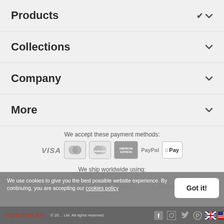Products
Collections
Company
More
We accept these payment methods:
[Figure (infographic): Payment method logos: VISA, MasterCard, Maestro, American Express, PayPal, Apple Pay]
We ship worldwide using:
[Figure (infographic): Shipping carrier logos: USPS.COM, Royal Mail, FedEx, Australia Post]
We use cookies to give you the best possible website experience. By continuing, you are accepting our cookies policy
POSTSNAP. © 2024 Ltd. All rights reserved.